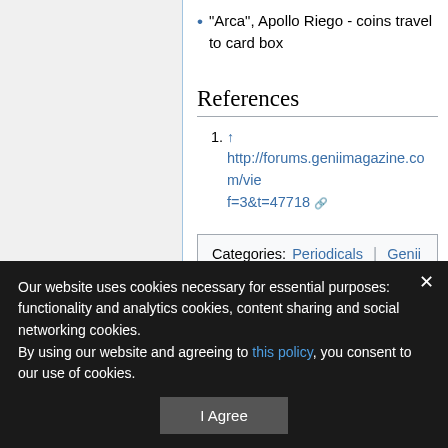"Arca", Apollo Riego - coins travel to card box
References
↑ http://forums.geniimagazine.com/viewtopic.php?f=3&t=47718
Categories: Periodicals | Genii
Our website uses cookies necessary for essential purposes: functionality and analytics cookies, content sharing and social networking cookies.
By using our website and agreeing to this policy, you consent to our use of cookies.